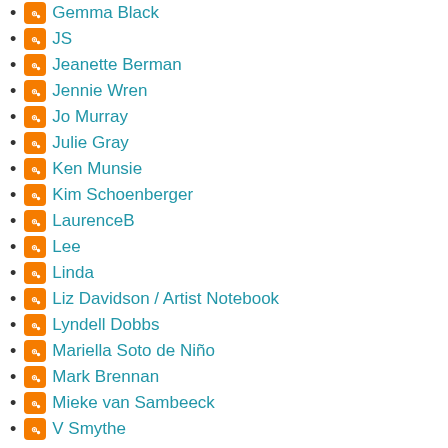Gemma Black
JS
Jeanette Berman
Jennie Wren
Jo Murray
Julie Gray
Ken Munsie
Kim Schoenberger
LaurenceB
Lee
Linda
Liz Davidson / Artist Notebook
Lyndell Dobbs
Mariella Soto de Niño
Mark Brennan
Mieke van Sambeeck
V Smythe